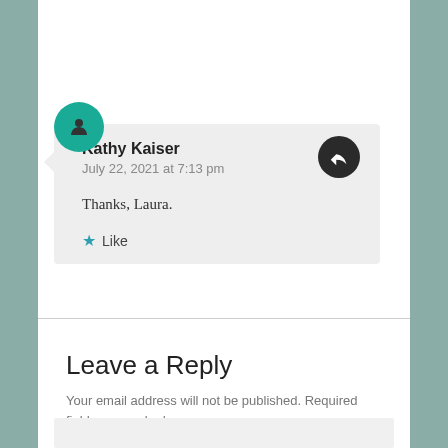[Figure (other): Star like button in top comment card]
[Figure (other): Teal circular avatar with person icon for Kathy Kaiser]
Kathy Kaiser
July 22, 2021 at 7:13 pm
[Figure (other): Dark circular reply button with arrow icon]
Thanks, Laura.
Like
Leave a Reply
Your email address will not be published. Required fields are marked